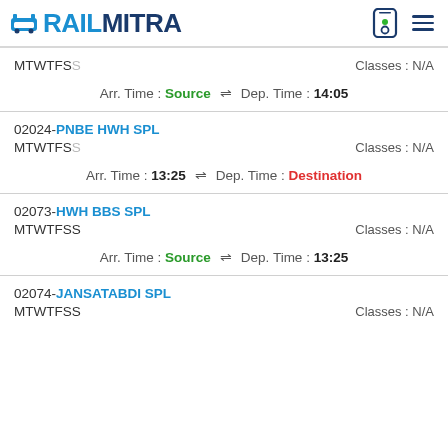RAILMITRA
MTWTFSS  Classes : N/A
Arr. Time : Source ⇌ Dep. Time : 14:05
02024-PNBE HWH SPL
MTWTFSS  Classes : N/A
Arr. Time : 13:25 ⇌ Dep. Time : Destination
02073-HWH BBS SPL
MTWTFSS  Classes : N/A
Arr. Time : Source ⇌ Dep. Time : 13:25
02074-JANSATABDI SPL
MTWTFSS  Classes : N/A